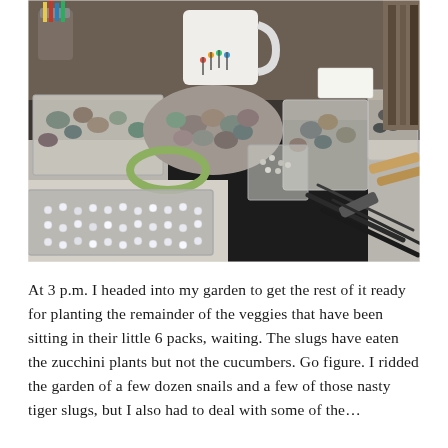[Figure (photo): A cluttered craft/jewelry workbench showing stones, beads, rhinestones in clear plastic trays, small zip-lock bags with pebbles, jewelry pliers and tools on a dark cloth, a white mug with colorful pins design, and various supplies in the background.]
At 3 p.m. I headed into my garden to get the rest of it ready for planting the remainder of the veggies that have been sitting in their little 6 packs, waiting. The slugs have eaten the zucchini plants but not the cucumbers. Go figure. I ridded the garden of a few dozen snails and a few of those nasty tiger slugs, but I also had to deal with some of the…